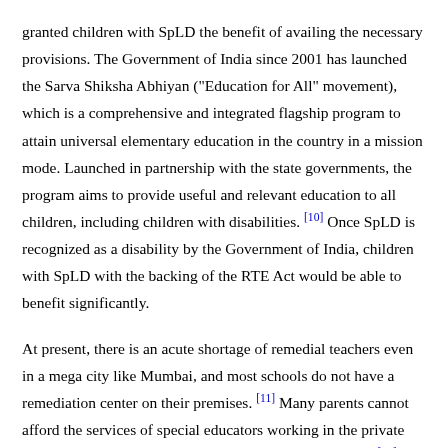granted children with SpLD the benefit of availing the necessary provisions. The Government of India since 2001 has launched the Sarva Shiksha Abhiyan ("Education for All" movement), which is a comprehensive and integrated flagship program to attain universal elementary education in the country in a mission mode. Launched in partnership with the state governments, the program aims to provide useful and relevant education to all children, including children with disabilities. [10] Once SpLD is recognized as a disability by the Government of India, children with SpLD with the backing of the RTE Act would be able to benefit significantly.
At present, there is an acute shortage of remedial teachers even in a mega city like Mumbai, and most schools do not have a remediation center on their premises. [11] Many parents cannot afford the services of special educators working in the private sector (one session costs from about Rs. 250 to Rs. 500). [11] The RTE Act mandates that the school infrastructure (where there is a problem) be improved in 3 years, or else its recognition would get cancelled. [6] Funds from the Sarva Shiksha Abhiyan would now be available to set up detection centers in every city/town/district headquarters and remediation centers in each school all over the